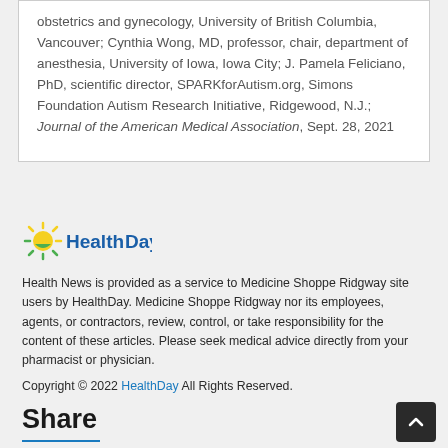obstetrics and gynecology, University of British Columbia, Vancouver; Cynthia Wong, MD, professor, chair, department of anesthesia, University of Iowa, Iowa City; J. Pamela Feliciano, PhD, scientific director, SPARKforAutism.org, Simons Foundation Autism Research Initiative, Ridgewood, N.J.; Journal of the American Medical Association, Sept. 28, 2021
[Figure (logo): HealthDay logo with sun graphic — green and yellow sun on left, blue 'HealthDay' text on right]
Health News is provided as a service to Medicine Shoppe Ridgway site users by HealthDay. Medicine Shoppe Ridgway nor its employees, agents, or contractors, review, control, or take responsibility for the content of these articles. Please seek medical advice directly from your pharmacist or physician.
Copyright © 2022 HealthDay All Rights Reserved.
Share